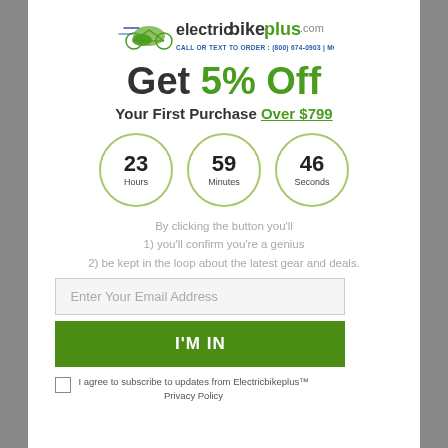[Figure (logo): Electricbikeplus.com logo with stylized leaf/bike graphic and call/text to order info bar]
Get 5% Off
Your First Purchase Over $799
[Figure (infographic): Three circular countdown timer circles showing 23 Hours, 59 Minutes, 46 Seconds]
By clicking the button you'll
1) you'll confirm you're a genius
2) be kept in the loop about the latest gear and deals.
Enter Your Email Address
I'M IN
I agree to subscribe to updates from Electricbikeplus™ Privacy Policy